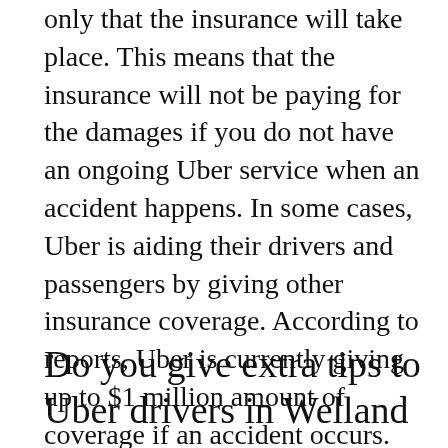only that the insurance will take place. This means that the insurance will not be paying for the damages if you do not have an ongoing Uber service when an accident happens. In some cases, Uber is aiding their drivers and passengers by giving other insurance coverage. According to reports, Uber is currently giving up to $1 million amount of coverage if an accident occurs.
Do you give extra tips to Uber drivers in Welland Ontario?